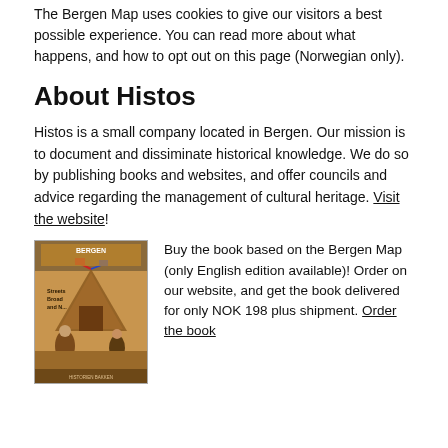The Bergen Map uses cookies to give our visitors a best possible experience. You can read more about what happens, and how to opt out on this page (Norwegian only).
About Histos
Histos is a small company located in Bergen. Our mission is to document and dissiminate historical knowledge. We do so by publishing books and websites, and offer councils and advice regarding the management of cultural heritage. Visit the website!
[Figure (photo): Book cover image for Bergen Map book showing a medieval-style illustration with pyramidal structure and figures]
Buy the book based on the Bergen Map (only English edition available)! Order on our website, and get the book delivered for only NOK 198 plus shipment. Order the book